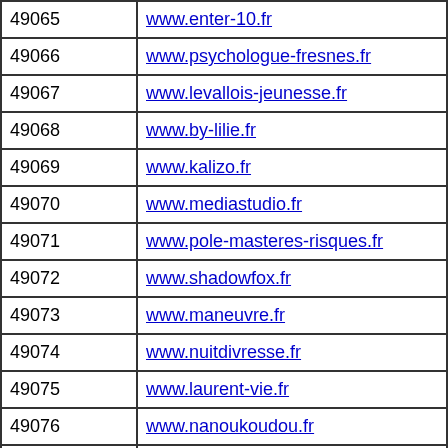| ID | URL |
| --- | --- |
| 49065 | www.enter-10.fr |
| 49066 | www.psychologue-fresnes.fr |
| 49067 | www.levallois-jeunesse.fr |
| 49068 | www.by-lilie.fr |
| 49069 | www.kalizo.fr |
| 49070 | www.mediastudio.fr |
| 49071 | www.pole-masteres-risques.fr |
| 49072 | www.shadowfox.fr |
| 49073 | www.maneuvre.fr |
| 49074 | www.nuitdivresse.fr |
| 49075 | www.laurent-vie.fr |
| 49076 | www.nanoukoudou.fr |
| 49077 | www.haimmobiliers.fr |
| 49078 | www.restaurant-lemidi.fr |
| 49079 | www.jolietrouvaille.fr |
| 49080 | www.la-goutte-deau.fr |